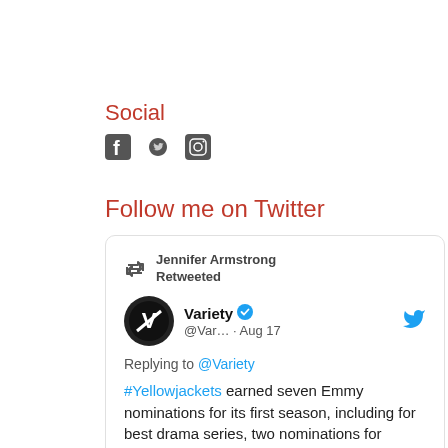Social
[Figure (illustration): Social media icons: Facebook, Twitter, Instagram]
Follow me on Twitter
Jennifer Armstrong Retweeted
Variety @Var… · Aug 17
Replying to @Variety
#Yellowjackets earned seven Emmy nominations for its first season, including for best drama series, two nominations for writing, and nominations for directing and casting, in